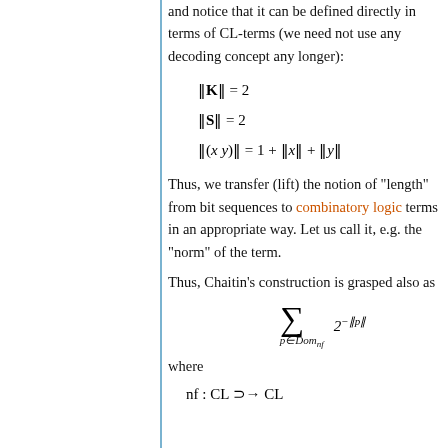and notice that it can be defined directly in terms of CL-terms (we need not use any decoding concept any longer):
Thus, we transfer (lift) the notion of “length” from bit sequences to combinatory logic terms in an appropriate way. Let us call it, e.g. the “norm” of the term.
Thus, Chaitin’s construction is grasped also as
where